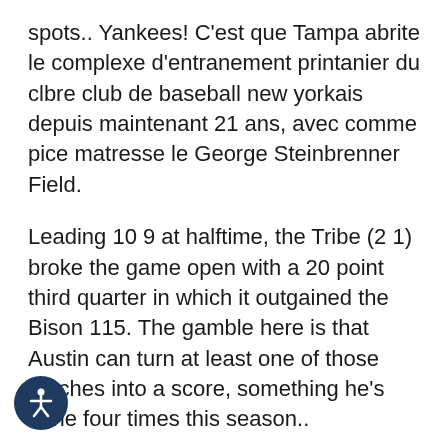spots.. Yankees! C'est que Tampa abrite le complexe d'entranement printanier du clbre club de baseball new yorkais depuis maintenant 21 ans, avec comme pice matresse le George Steinbrenner Field.
Leading 10 9 at halftime, the Tribe (2 1) broke the game open with a 20 point third quarter in which it outgained the Bison 115. The gamble here is that Austin can turn at least one of those touches into a score, something he's done four times this season..
One way to prevent drugs in sports is to create a strict testing policy for the league. or a defensive player, caught in the heat of
[Figure (illustration): Accessibility icon: a dark navy blue circle containing a white stick figure with arms outstretched (universal accessibility symbol)]